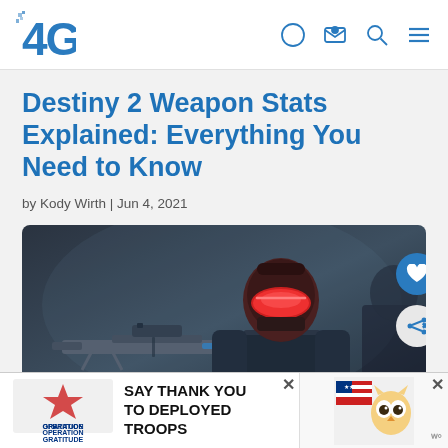4GG
Destiny 2 Weapon Stats Explained: Everything You Need to Know
by Kody Wirth | Jun 4, 2021
[Figure (photo): Destiny 2 character wearing a dark helmet with red visor, holding a sniper rifle, in a dark sci-fi environment]
[Figure (infographic): Operation Gratitude advertisement: SAY THANK YOU TO DEPLOYED TROOPS]